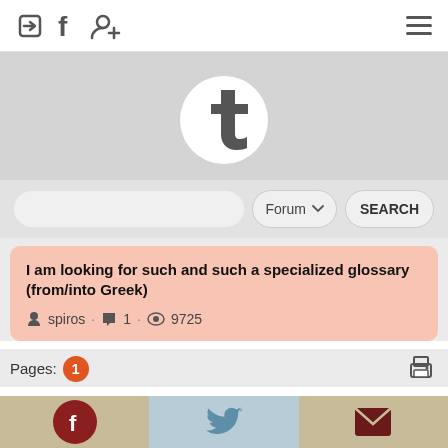Navigation bar with login, Facebook, add user icons and hamburger menu
[Figure (logo): Tumblr logo in white circle on gray banner background]
[Figure (screenshot): Search bar with Forum dropdown and SEARCH button]
I am looking for such and such a specialized glossary (from/into Greek)
spiros · 1 · 9725
Pages: 1
[Figure (infographic): Bottom social bar with Facebook, Twitter, and email icons]